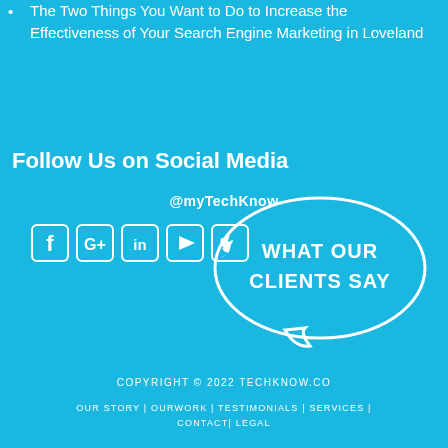The Two Things You Want to Do to Increase the Effectiveness of Your Search Engine Marketing in Loveland
Follow Us on Social Media
@myTechKnow
[Figure (illustration): Row of social media icons: Facebook, Google+, LinkedIn, YouTube, Twitter]
[Figure (illustration): Speech bubble graphic with text: WHAT OUR CLIENTS SAY]
COPYRIGHT © 2022 TECHKNOW.CO
OUR STORY | OURWORK | TESTIMONIALS | SERVICES | CONTACT| LEGAL